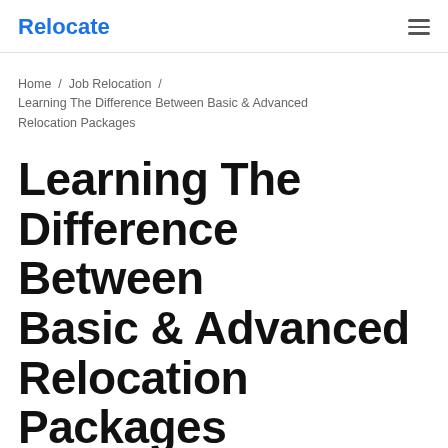Relocate
Home / Job Relocation / Learning The Difference Between Basic & Advanced Relocation Packages
Learning The Difference Between Basic & Advanced Relocation Packages
Reading Time: 2 minutes